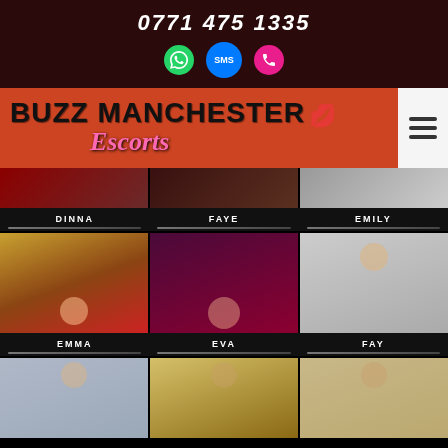0771 475 1335
[Figure (logo): Buzz Manchester Escorts logo with orange/red background, bold black text and pink cursive Escorts text with lip icon]
[Figure (photo): Three partial escort profile photos (top portions) for Dinna, Faye, Emily]
DINNA   FAYE   EMILY
[Figure (photo): Three escort profile photos: Emma (blonde in red), Eva (dark hair on purple/red background), Fay (brunette in red lingerie)]
EMMA   EVA   FAY
[Figure (photo): Three escort profile photos (bottom row, partially visible): blonde, brunette in gold/green setting, brunette in light interior]